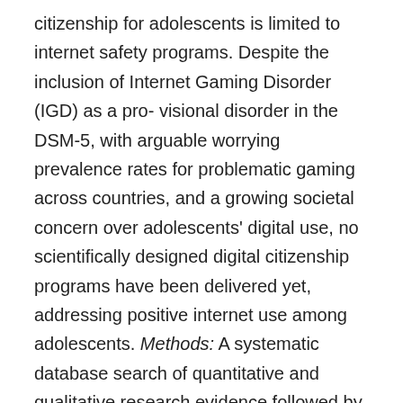citizenship for adolescents is limited to internet safety programs. Despite the inclusion of Internet Gaming Disorder (IGD) as a pro- visional disorder in the DSM-5, with arguable worrying prevalence rates for problematic gaming across countries, and a growing societal concern over adolescents' digital use, no scientifically designed digital citizenship programs have been delivered yet, addressing positive internet use among adolescents. Methods: A systematic database search of quantitative and qualitative research evidence followed by a search for governmental initiatives and policies, as well as, nonprofit organizations' websites and reports was conducted to evaluate if any systematic needs assessment and/or evidence-based, school delivered prevention or intervention programs have been conducted in the UK,